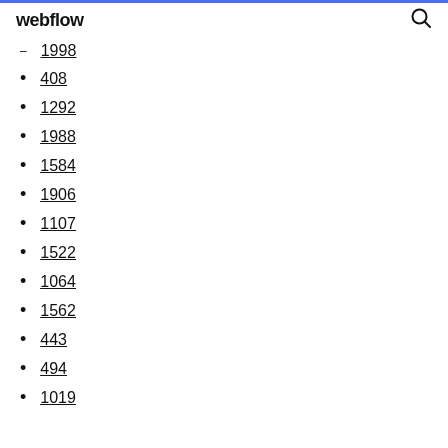webflow
1998
408
1292
1988
1584
1906
1107
1522
1064
1562
443
494
1019